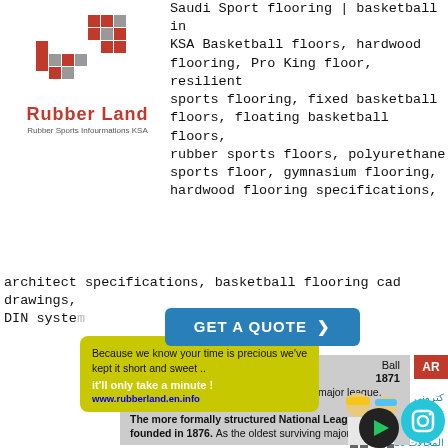[Figure (logo): Rubber Land logo with red and gray pixel pattern, text 'Rubber Land' and subtext 'Rubber Sports Infourmations KSA']
Saudi Sport flooring | basketball in KSA Basketball floors, hardwood flooring, Pro King floor, resilient sports flooring, fixed basketball floors, floating basketball floors, rubber sports floors, polyurethane sports floor, gymnasium flooring, hardwood flooring specifications, architect specifications, basketball flooring cad drawings, DIN system n
[Figure (infographic): GET A QUOTE button in blue with arrow, yellow tooltip saying 'Because we know your time is precious we've kept it short and sweet .. it'll only take a minute!' with URL www.rubberland.en.info]
ce Request
Contact
[Figure (infographic): AR badge in red]
Ball 1871 to 1875, scholars dispute its status as a major league.
The more formally structured National League was founded in 1876. As the oldest surviving major league
[Figure (illustration): Two worker figures in hard hats with tools, Instagram icon overlay, play button icon]
كتروني تخصص نين بجميع المجالات 2018 يتم اختيار أفضل البنائين بالسعودية